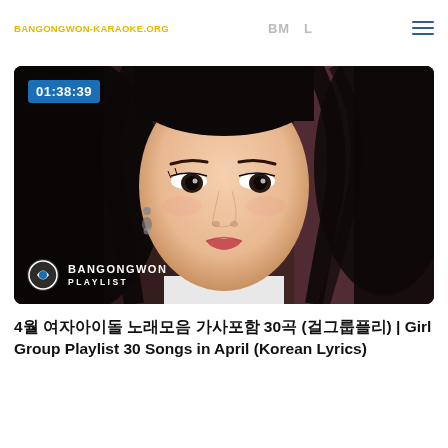BANGONGWON-KARAOKE.ORG | BM... | ≡
[Figure (screenshot): YouTube video thumbnail showing a close-up portrait of a young East Asian woman with long dark hair, natural makeup with red lips, small dangle earring. Duration badge shows 01:38:39 in top-left corner. Bangongwon Playlist watermark logo in bottom-left.]
4월 여자아이돌 노래모음 가사포함 30곡 (걸그룹플리) | Girl Group Playlist 30 Songs in April (Korean Lyrics)